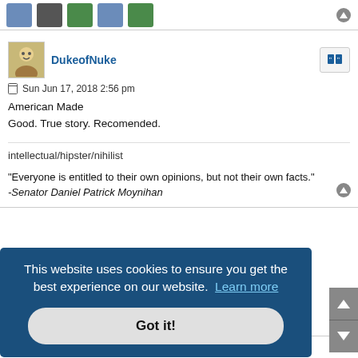[Figure (screenshot): Top strip with forum icon images]
DukeofNuke
Sun Jun 17, 2018 2:56 pm
American Made
Good. True story. Recomended.
intellectual/hipster/nihilist
"Everyone is entitled to their own opinions, but not their own facts."
-Senator Daniel Patrick Moynihan
This website uses cookies to ensure you get the best experience on our website. Learn more
Got it!
American Made
Good. True story. Recomended.